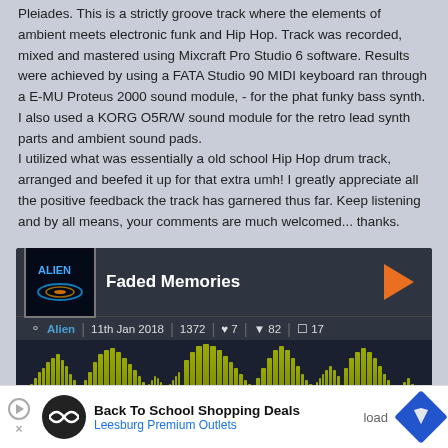Pleiades. This is a strictly groove track where the elements of ambient meets electronic funk and Hip Hop. Track was recorded, mixed and mastered using Mixcraft Pro Studio 6 software. Results were achieved by using a FATA Studio 90 MIDI keyboard ran through a E-MU Proteus 2000 sound module, - for the phat funky bass synth. I also used a KORG O5R/W sound module for the retro lead synth parts and ambient sound pads.
I utilized what was essentially a old school Hip Hop drum track, arranged and beefed it up for that extra umh! I greatly appreciate all the positive feedback the track has garnered thus far. Keep listening and by all means, your comments are much welcomed... thanks.
[Figure (screenshot): Music player card showing track 'Faded Memories' by Alien, posted 11th Jan 2018, with play count 1372, 7 likes, 82 dislikes, 17 comments, and an olive-green audio waveform visualization on dark background.]
[Figure (screenshot): Advertisement banner: Back To School Shopping Deals, Leesburg Premium Outlets]